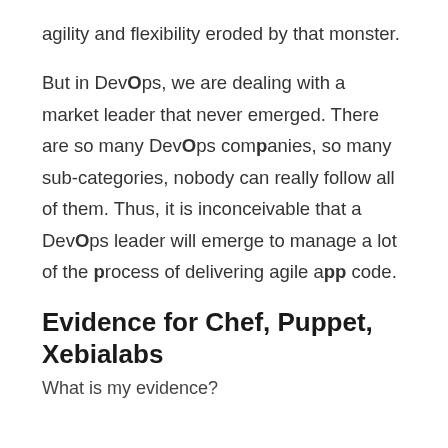agility and flexibility eroded by that monster.
But in DevOps, we are dealing with a market leader that never emerged. There are so many DevOps companies, so many sub-categories, nobody can really follow all of them. Thus, it is inconceivable that a DevOps leader will emerge to manage a lot of the process of delivering agile app code.
Evidence for Chef, Puppet, Xebialabs
What is my evidence?